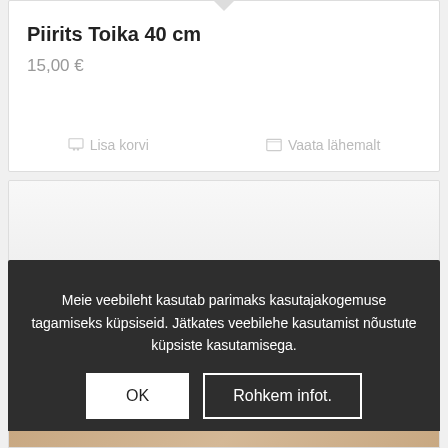Piirits Toika 40 cm
15,00 €
Lisa korvi
Vaata lähemalt
[Figure (photo): Partial product card with a wooden hanger/hook image]
Meie veebileht kasutab parimaks kasutajakogemuse tagamiseks küpsiseid. Jätkates veebilehe kasutamist nõustute küpsiste kasutamisega.
OK
Rohkem infot.